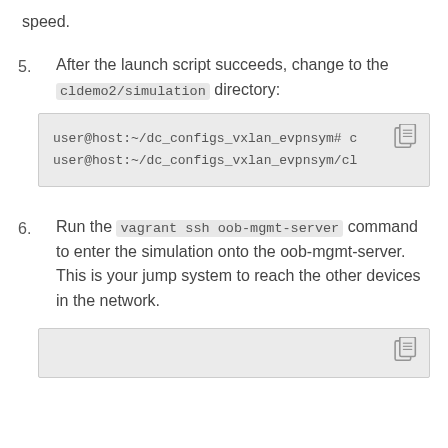speed.
5. After the launch script succeeds, change to the cldemo2/simulation directory:
[Figure (screenshot): Code block showing terminal commands: user@host:~/dc_configs_vxlan_evpnsym# c and user@host:~/dc_configs_vxlan_evpnsym/cl with a copy icon in the top right]
6. Run the vagrant ssh oob-mgmt-server command to enter the simulation onto the oob-mgmt-server. This is your jump system to reach the other devices in the network.
[Figure (screenshot): Partial code block visible at bottom of page with copy icon]